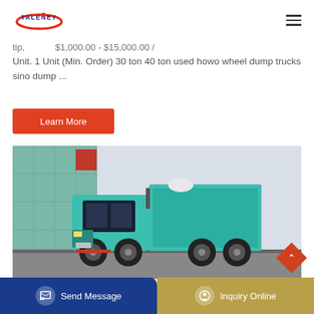[Figure (logo): Talenet company logo with red oval/swoosh and blue text TALENET]
tip, $1,000.00 - $15,000.00 / Unit. 1 Unit (Min. Order) 30 ton 40 ton used howo wheel dump trucks sino dump ...
Learn More
[Figure (photo): Teal/turquoise HOWO dump truck parked in front of a glass building with red signage]
Send Message
Inquiry Online